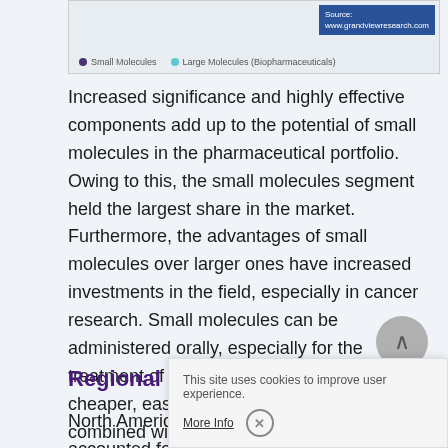[Figure (other): Top portion of a chart showing Small Molecules and Large Molecules (Biopharmaceuticals) legend with source attribution to www.grandviewresearch.com]
Increased significance and highly effective components add up to the potential of small molecules in the pharmaceutical portfolio. Owing to this, the small molecules segment held the largest share in the market. Furthermore, the advantages of small molecules over larger ones have increased investments in the field, especially in cancer research. Small molecules can be administered orally, especially for the treatment of chronic diseases, they are cheaper, easy to manufacture, and can be combined with intracellular targets. Ongoing studies to investigate and develop novel therapeutics for various indications are expected to further influence segment growth.
Regional Insights
North America dominated th... accounted for the largest share of more than 33.3% of the